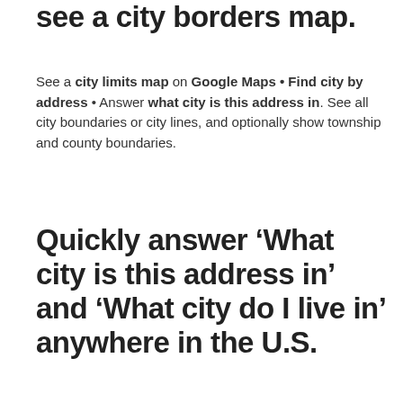see a city borders map.
See a city limits map on Google Maps • Find city by address • Answer what city is this address in. See all city boundaries or city lines, and optionally show township and county boundaries.
Quickly answer ‘What city is this address in’ and ‘What city do I live in’ anywhere in the U.S.
To find city by address, type the address into the Search places box above the map.
Quick Tips for using this City